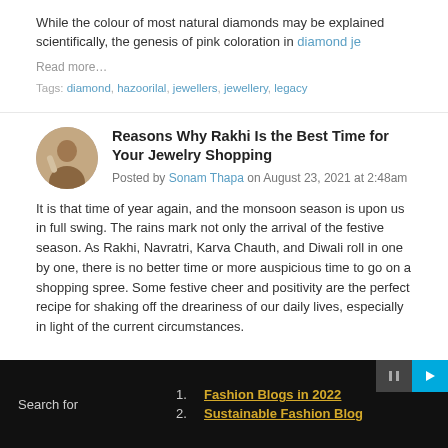While the colour of most natural diamonds may be explained scientifically, the genesis of pink coloration in diamond je
Read more…
Tags: diamond, hazoorilal, jewellers, jewellery, legacy
Reasons Why Rakhi Is the Best Time for Your Jewelry Shopping
Posted by Sonam Thapa on August 23, 2021 at 2:48am
It is that time of year again, and the monsoon season is upon us in full swing. The rains mark not only the arrival of the festive season. As Rakhi, Navratri, Karva Chauth, and Diwali roll in one by one, there is no better time or more auspicious time to go on a shopping spree. Some festive cheer and positivity are the perfect recipe for shaking off the dreariness of our daily lives, especially in light of the current circumstances.
Search for
1. Fashion Blogs in 2022
2. Sustainable Fashion Blog